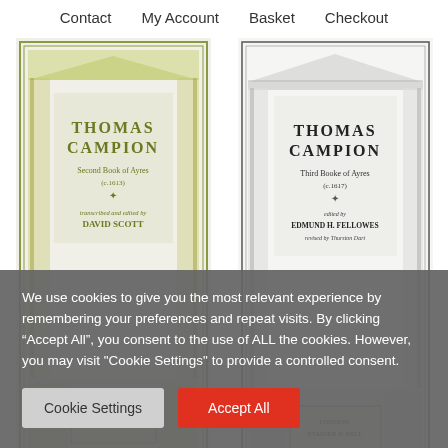Contact   My Account   Basket   Checkout
[Figure (illustration): Book cover: Thomas Campion, Second Book of Ayres (c.1613), transcribed and edited by David Scott. London: Stainer & Bell. Green-tinted architectural title page engraving.]
[Figure (illustration): Book cover: Thomas Campion, Third Booke of Ayres (c.1617), edited by Edmund H. Fellowes, revised by Thurston Dart. London: Stainer & Bell. Black and white architectural title page engraving.]
Campion, Thomas: The
Campion, Thomas: The Third
We use cookies to give you the most relevant experience by remembering your preferences and repeat visits. By clicking “Accept All”, you consent to the use of ALL the cookies. However, you may visit "Cookie Settings" to provide a controlled consent.
Cookie Settings
Accept All